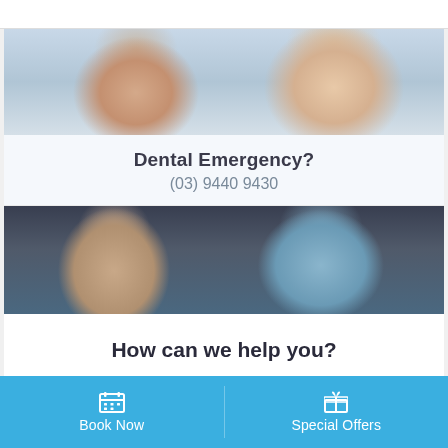[Figure (photo): Two women at a dental clinic, one appears to be a patient and one a dental professional, smiling together in a bright dental office setting]
Dental Emergency?
(03) 9440 9430
[Figure (photo): A patient sitting in a dental chair looking at a clipboard or tablet held by a dental professional in blue scrubs]
How can we help you?
Every member of our team is committed to providing excellent dental care in a calm, friendly environment. We are a general dental practice, providing a wide range of
Book Now
Special Offers